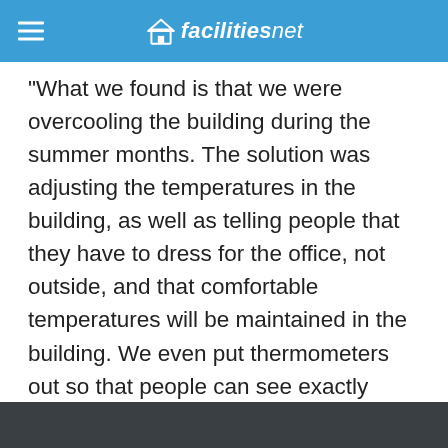facilitiesnet
"What we found is that we were overcooling the building during the summer months. The solution was adjusting the temperatures in the building, as well as telling people that they have to dress for the office, not outside, and that comfortable temperatures will be maintained in the building. We even put thermometers out so that people can see exactly what the temperature really is."
ASLA also found the temperature on the green roof on the hottest summer days can be as much as 43.5 degrees cooler than a conventional roof.